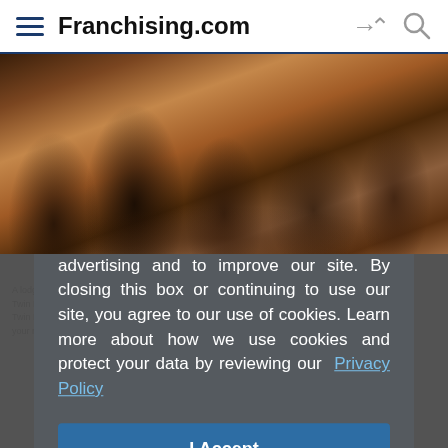Franchising.com
[Figure (photo): Restaurant scene with people dining, servers carrying food, beer mugs on table]
Twin Peaks
Franchising.com uses cookies for analytics, advertising and to improve our site. By closing this box or continuing to use our site, you agree to our use of cookies. Learn more about how we use cookies and protect your data by reviewing our Privacy Policy
I Accept
Cash Required: $2,000,000